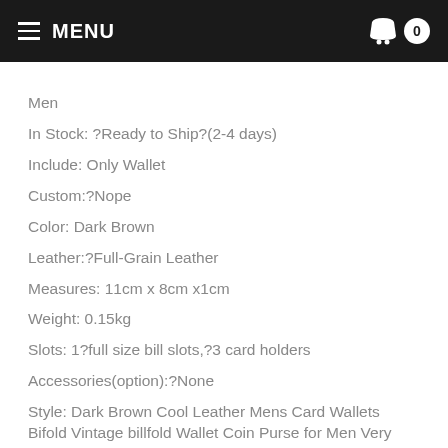MENU
Men
In Stock: ?Ready to Ship?(2-4 days)
Include: Only Wallet
Custom:?Nope
Color: Dark Brown
Leather:?Full-Grain Leather
Measures: 11cm x 8cm x1cm
Weight: 0.15kg
Slots: 1?full size bill slots,?3 card holders
Accessories(option):?None
Style: Dark Brown Cool Leather Mens Card Wallets Bifold Vintage billfold Wallet Coin Purse for Men Very durable (At least 5 Years) and it should last a life time